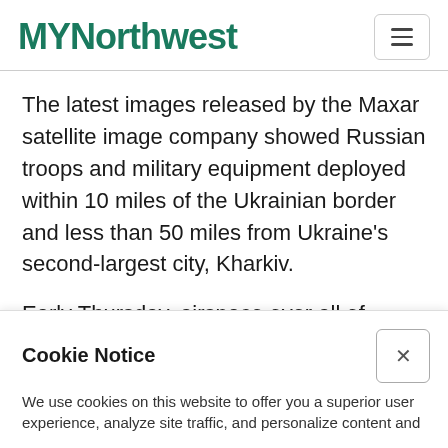MYNorthwest
The latest images released by the Maxar satellite image company showed Russian troops and military equipment deployed within 10 miles of the Ukrainian border and less than 50 miles from Ukraine's second-largest city, Kharkiv.
Early Thursday, airspace over all of Ukraine was shut down to civilian air traffic, according to a notice to airmen. A
Cookie Notice
We use cookies on this website to offer you a superior user experience, analyze site traffic, and personalize content and